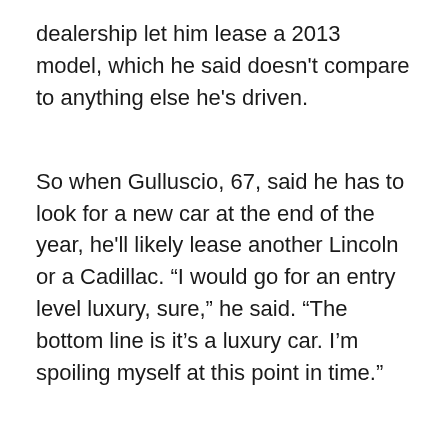dealership let him lease a 2013 model, which he said doesn't compare to anything else he's driven.
So when Gulluscio, 67, said he has to look for a new car at the end of the year, he'll likely lease another Lincoln or a Cadillac. “I would go for an entry level luxury, sure,” he said. “The bottom line is it’s a luxury car. I’m spoiling myself at this point in time.”
John McElroy, a Detroit-based analyst, said he’s seen companies like Mercedes and BMW aggressively push for leasing lately, making the cost of luxuries easier on buyers like Gulluscio. An increased campaign for leasing, and